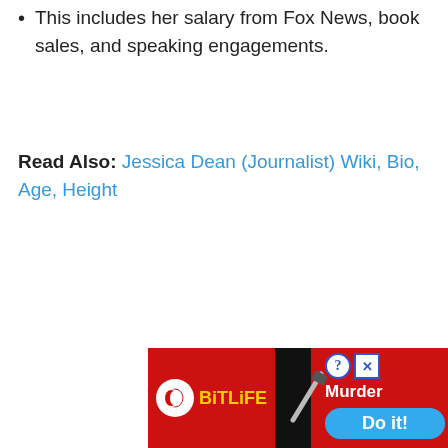This includes her salary from Fox News, book sales, and speaking engagements.
Read Also: Jessica Dean (Journalist) Wiki, Bio, Age, Height
[Figure (other): BitLife mobile game advertisement banner with red background showing BitLife logo, knife graphic, 'Murder' text, and 'Do it!' blue button]